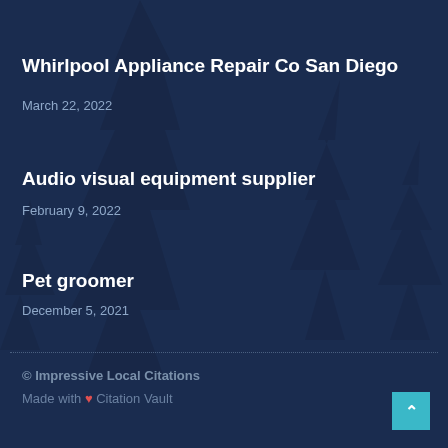Whirlpool Appliance Repair Co San Diego
March 22, 2022
Audio visual equipment supplier
February 9, 2022
Pet groomer
December 5, 2021
© Impressive Local Citations
Made with ❤ Citation Vault